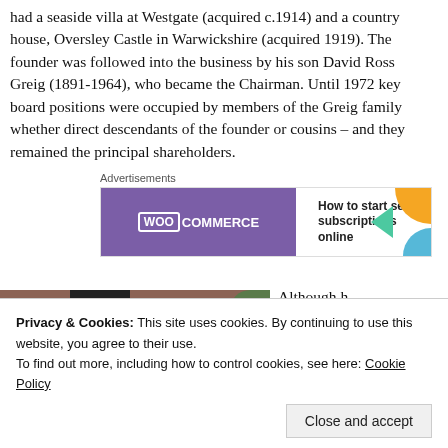had a seaside villa at Westgate (acquired c.1914) and a country house, Oversley Castle in Warwickshire (acquired 1919). The founder was followed into the business by his son David Ross Greig (1891-1964), who became the Chairman. Until 1972 key board positions were occupied by members of the Greig family whether direct descendants of the founder or cousins – and they remained the principal shareholders.
[Figure (other): WooCommerce advertisement banner: purple background with WooCommerce logo and text 'How to start selling subscriptions online']
[Figure (photo): Partial photo of a building exterior with brick wall and dark doorway]
Although h joiner f...
Privacy & Cookies: This site uses cookies. By continuing to use this website, you agree to their use.
To find out more, including how to control cookies, see here: Cookie Policy
Close and accept